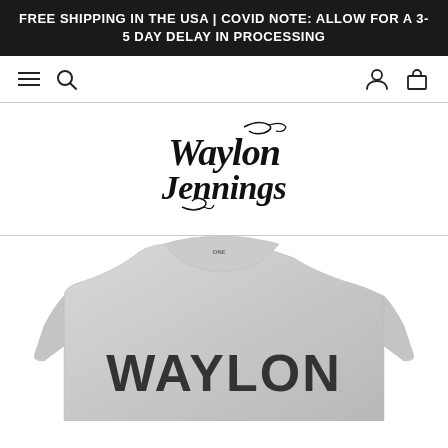FREE SHIPPING IN THE USA | COVID NOTE: ALLOW FOR A 3-5 DAY DELAY IN PROCESSING
[Figure (logo): Navigation bar with hamburger menu, search icon on left; user account and shopping bag icons on right]
[Figure (logo): Waylon Jennings official store logo in decorative vintage serif font with flourishes]
[Figure (photo): Grey heather t-shirt with WAYLON printed in large block letters, partially visible from bottom of page]